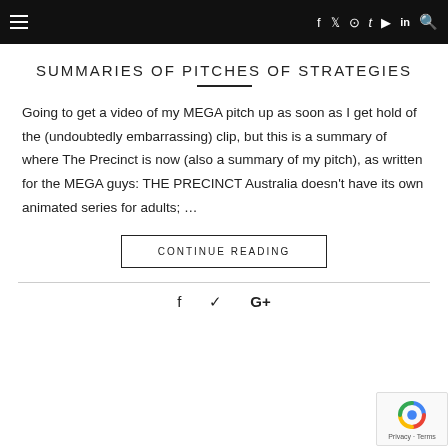≡   f  ✓  ◎  t  ▶  in  🔍
SUMMARIES OF PITCHES OF STRATEGIES
Going to get a video of my MEGA pitch up as soon as I get hold of the (undoubtedly embarrassing) clip, but this is a summary of where The Precinct is now (also a summary of my pitch), as written for the MEGA guys: THE PRECINCT Australia doesn't have its own animated series for adults; ...
CONTINUE READING
f  ✓  G+